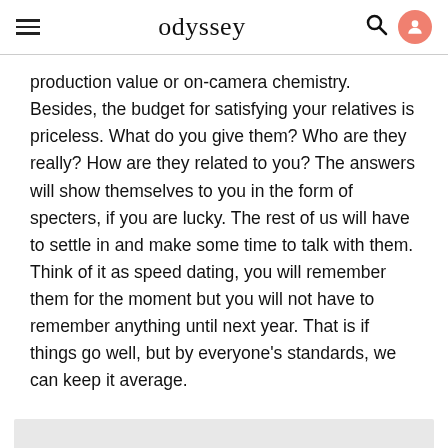odyssey
production value or on-camera chemistry. Besides, the budget for satisfying your relatives is priceless. What do you give them? Who are they really? How are they related to you? The answers will show themselves to you in the form of specters, if you are lucky. The rest of us will have to settle in and make some time to talk with them. Think of it as speed dating, you will remember them for the moment but you will not have to remember anything until next year. That is if things go well, but by everyone's standards, we can keep it average.
[Figure (other): Gray advertisement placeholder block]